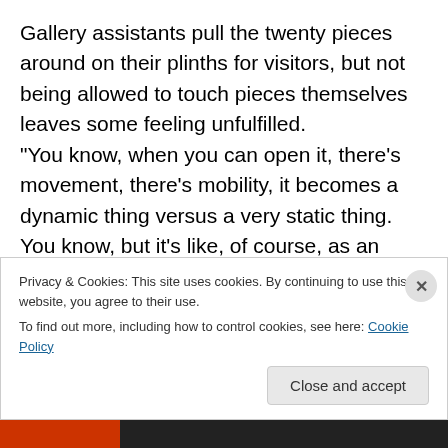Gallery assistants pull the twenty pieces around on their plinths for visitors, but not being allowed to touch pieces themselves leaves some feeling unfulfilled. “You know, when you can open it, there’s movement, there’s mobility, it becomes a dynamic thing versus a very static thing. You know, but it’s like, of course, as an observer, it’s like, I can only enjoy that momentum or that movement of the object if someone opens it for me. It’s so funny, because it’s like, enticing. You kind of want to play with it but you can’t,” said one visitor, Lydia Chrisman, on Tuesday (January 21)
Privacy & Cookies: This site uses cookies. By continuing to use this website, you agree to their use.
To find out more, including how to control cookies, see here: Cookie Policy